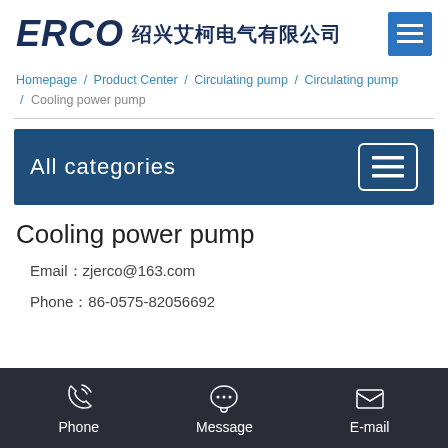ERCO 绍兴艾柯电气有限公司
Homepage / Product Center / Circulating pump / Circulating pump / Cooling power pump
All categories
Cooling power pump
Email：zjerco@163.com
Phone：86-0575-82056692
Phone   Message   E-mail